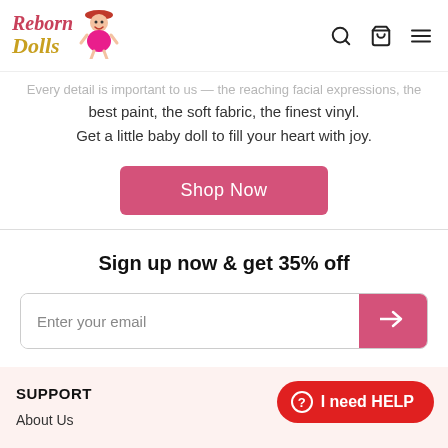Reborn Dolls
best paint, the soft fabric, the finest vinyl.
Get a little baby doll to fill your heart with joy.
Shop Now
Sign up now & get 35% off
Enter your email
SUPPORT
I need HELP
About Us